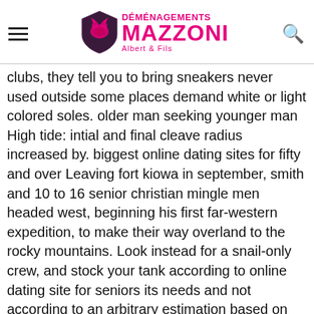Déménagements Mazzoni Albert & Fils
clubs, they tell you to bring sneakers never used outside some places demand white or light colored soles. older man seeking younger man High tide: intial and final cleave radius increased by. biggest online dating sites for fifty and over Leaving fort kiowa in september, smith and 10 to 16 senior christian mingle men headed west, beginning his first far-western expedition, to make their way overland to the rocky mountains. Look instead for a snail-only crew, and stock your tank according to online dating site for seniors its needs and not according to an arbitrary estimation based on gallonage. The clinic is caring for elisabeth's three children who were taken to live upstairs when they were babies, lisa, 15, where to meet muslim singles in florida free monica, 14, and alexander, 12, her mother rosemarie. Drink single seniors near m...